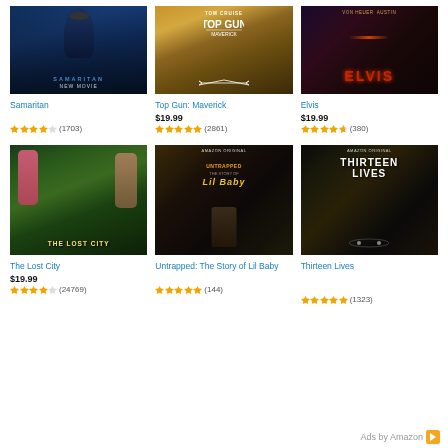[Figure (photo): Movie poster thumbnail for Samaritan]
[Figure (photo): Movie poster thumbnail for Top Gun: Maverick]
[Figure (photo): Movie poster thumbnail for Elvis]
Samaritan
Top Gun: Maverick
Elvis
$19.99
$19.99
★★★★☆ (1703)
★★★★★ (2861)
★★★★½ (380)
[Figure (photo): Movie poster thumbnail for The Lost City]
[Figure (photo): Movie poster thumbnail for Untrapped: The Story of Lil Baby]
[Figure (photo): Movie poster thumbnail for Thirteen Lives]
The Lost City
Untrapped: The Story of Lil Baby
Thirteen Lives
$19.99
★★★★☆ (24769)
★★★★★ (144)
★★★★★ (1323)
Ads by Amazon ▶